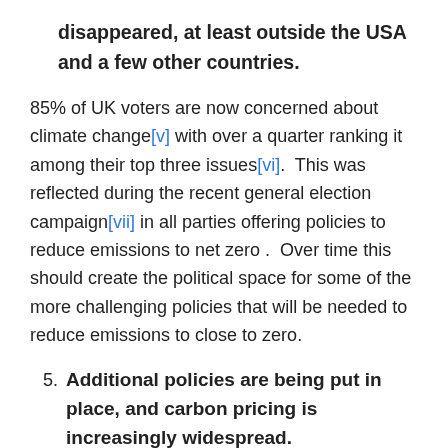disappeared, at least outside the USA and a few other countries.
85% of UK voters are now concerned about climate change[v] with over a quarter ranking it among their top three issues[vi].  This was reflected during the recent general election campaign[vii] in all parties offering policies to reduce emissions to net zero .  Over time this should create the political space for some of the more challenging policies that will be needed to reduce emissions to close to zero.
5. Additional policies are being put in place, and carbon pricing is increasingly widespread.
For example, almost all major economies now have renewables targets, and there are over 50 carbon pricing